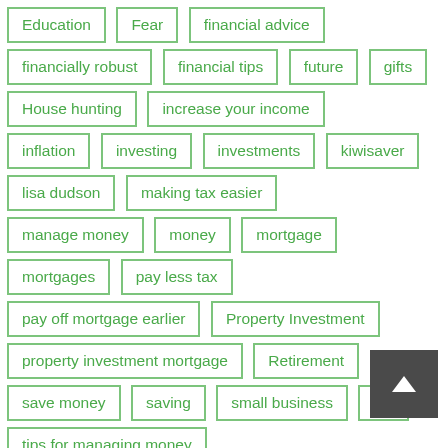Education
Fear
financial advice
financially robust
financial tips
future
gifts
House hunting
increase your income
inflation
investing
investments
kiwisaver
lisa dudson
making tax easier
manage money
money
mortgage
mortgages
pay less tax
pay off mortgage earlier
Property Investment
property investment mortgage
Retirement
save money
saving
small business
tax
tips for managing money